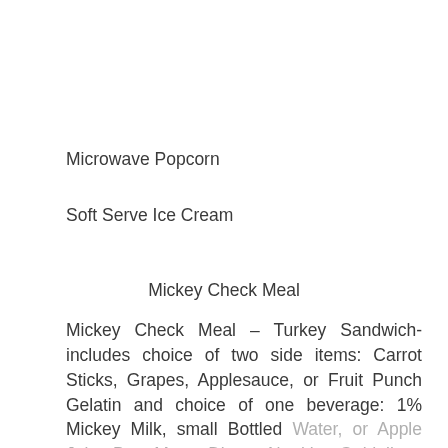Microwave Popcorn
Soft Serve Ice Cream
Mickey Check Meal
Mickey Check Meal – Turkey Sandwich- includes choice of two side items: Carrot Sticks, Grapes, Applesauce, or Fruit Punch Gelatin and choice of one beverage: 1% Mickey Milk, small Bottled Water, or Apple Juice Box. Meets Disney Nutrition Guidelines for Complete Meals